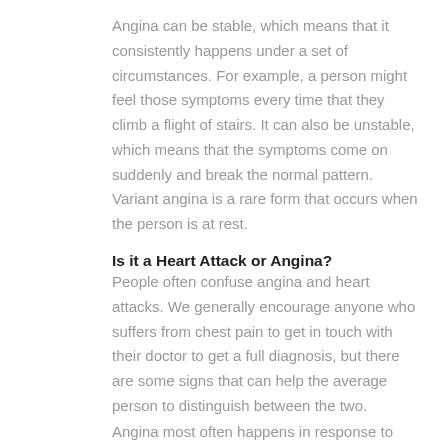Angina can be stable, which means that it consistently happens under a set of circumstances. For example, a person might feel those symptoms every time that they climb a flight of stairs. It can also be unstable, which means that the symptoms come on suddenly and break the normal pattern. Variant angina is a rare form that occurs when the person is at rest.
Is it a Heart Attack or Angina?
People often confuse angina and heart attacks. We generally encourage anyone who suffers from chest pain to get in touch with their doctor to get a full diagnosis, but there are some signs that can help the average person to distinguish between the two.
Angina most often happens in response to